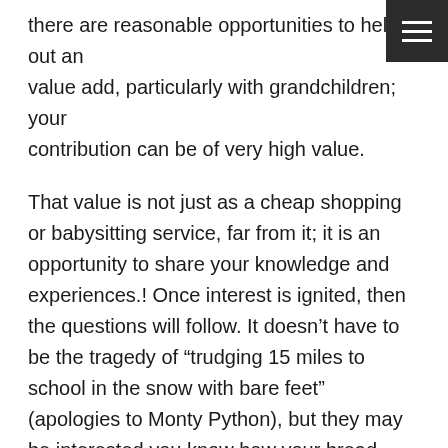there are reasonable opportunities to help out and value add, particularly with grandchildren; your contribution can be of very high value.
That value is not just as a cheap shopping or babysitting service, far from it; it is an opportunity to share your knowledge and experiences.! Once interest is ignited, then the questions will follow. It doesn't have to be the tragedy of “trudging 15 miles to school in the snow with bare feet” (apologies to Monty Python), but they may be interested you know how your bread was delivered by the baker in a horse drawn cart, or that your next door neighbours used to have an ice chest, not a refrigerator.